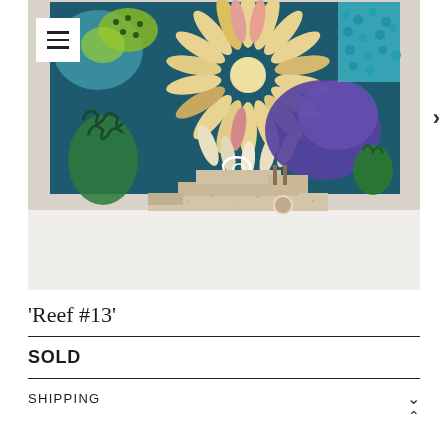[Figure (photo): Photograph of a colorful coral reef painting displayed on a sculptural travertine stone easel/stand. The painting shows abstract coral reef forms in blues, greens, purples, yellows and pinks. The stone stand has a geometric stepped shape with a circular cutout.]
'Reef #13'
SOLD
SHIPPING